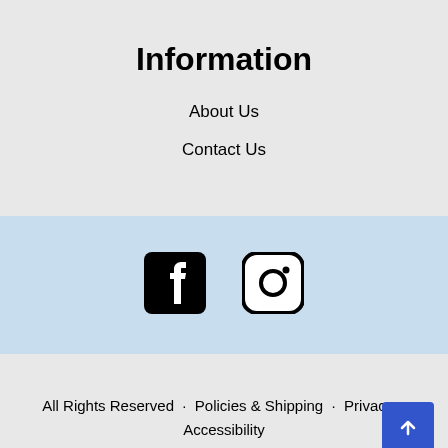Information
About Us
Contact Us
[Figure (logo): Facebook and Instagram social media icons displayed in a light blue banner section]
All Rights Reserved · Policies & Shipping · Privacy · Accessibility